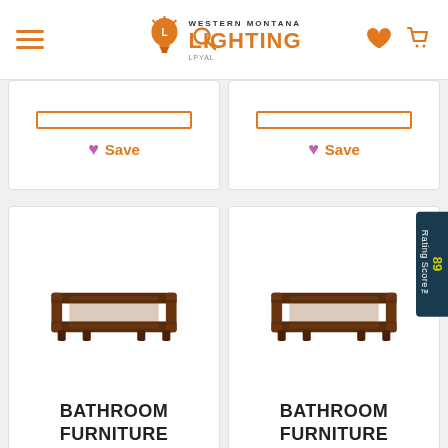Western Montana Lighting — navigation header with hamburger menu, search, logo, wishlist, and cart icons
[Figure (screenshot): Partial product cards (top, cut off) showing 'Add to Cart' buttons and 'Save' wishlist buttons with pink hearts, for two products side by side]
[Figure (photo): Bathroom furniture product — a dark brown wooden rectangular tray/stand frame with small feet]
BATHROOM FURNITURE
[Figure (photo): Bathroom furniture product — a dark brown wooden rectangular tray/stand frame with small feet (second item)]
BATHROOM FURNITURE